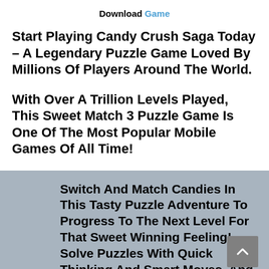Download Game
Start Playing Candy Crush Saga Today – A Legendary Puzzle Game Loved By Millions Of Players Around The World.
With Over A Trillion Levels Played, This Sweet Match 3 Puzzle Game Is One Of The Most Popular Mobile Games Of All Time!
Switch And Match Candies In This Tasty Puzzle Adventure To Progress To The Next Level For That Sweet Winning Feeling! Solve Puzzles With Quick Thinking And Smart Moves, And